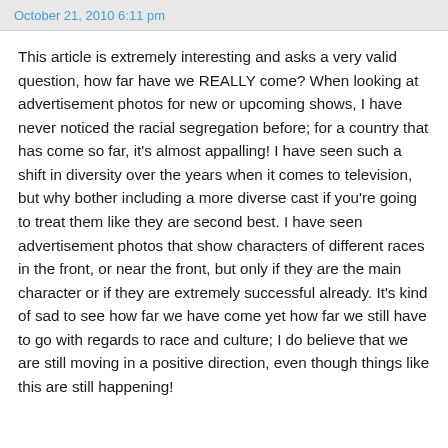October 21, 2010 6:11 pm
This article is extremely interesting and asks a very valid question, how far have we REALLY come? When looking at advertisement photos for new or upcoming shows, I have never noticed the racial segregation before; for a country that has come so far, it's almost appalling! I have seen such a shift in diversity over the years when it comes to television, but why bother including a more diverse cast if you're going to treat them like they are second best. I have seen advertisement photos that show characters of different races in the front, or near the front, but only if they are the main character or if they are extremely successful already. It's kind of sad to see how far we have come yet how far we still have to go with regards to race and culture; I do believe that we are still moving in a positive direction, even though things like this are still happening!